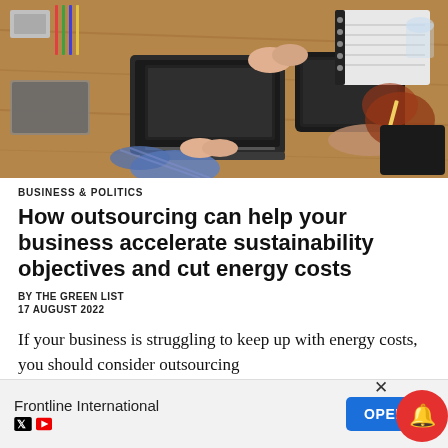[Figure (photo): Overhead view of people working at a wooden table with laptop, tablet, notebooks, and other items. Two people appear to be shaking hands.]
BUSINESS & POLITICS
How outsourcing can help your business accelerate sustainability objectives and cut energy costs
BY THE GREEN LIST
17 AUGUST 2022
If your business is struggling to keep up with energy costs, you should consider outsourcing
[Figure (screenshot): Advertisement banner for Frontline International with an OPEN button, close X, and notification bell icon.]